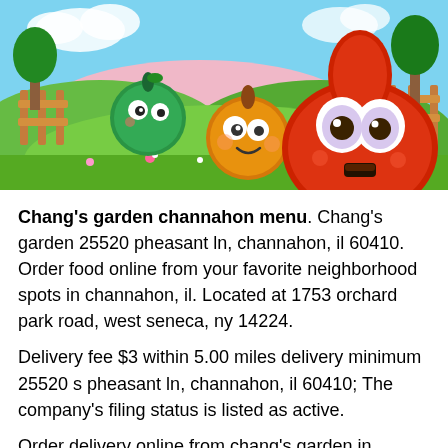[Figure (illustration): Cartoon illustration of three cute vegetable/fruit characters with big eyes in a colorful garden scene with green hills, flowers, mushrooms, and wooden fences. A large red jelly-like character dominates the right, an orange round character is in the middle, and a green round character is in the back left.]
Chang's garden channahon menu. Chang's garden 25520 pheasant ln, channahon, il 60410. Order food online from your favorite neighborhood spots in channahon, il. Located at 1753 orchard park road, west seneca, ny 14224.
Delivery fee $3 within 5.00 miles delivery minimum 25520 s pheasant ln, channahon, il 60410; The company's filing status is listed as active.
Order delivery online from chang's garden in channahon